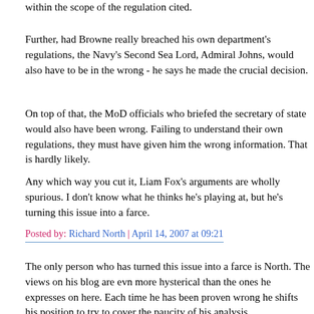within the scope of the regulation cited.
Further, had Browne really breached his own department's regulations, the Navy's Second Sea Lord, Admiral Johns, would also have to be in the wrong - he says he made the crucial decision.
On top of that, the MoD officials who briefed the secretary of state would also have been wrong. Failing to understand their own regulations, they must have given him the wrong information. That is hardly likely.
Any which way you cut it, Liam Fox's arguments are wholly spurious. I don't know what he thinks he's playing at, but he's turning this issue into a farce.
Posted by: Richard North | April 14, 2007 at 09:21
The only person who has turned this issue into a farce is North. The views on his blog are evn more hysterical than the ones he expresses on here. Each time he has been proven wrong he shifts his position to try to cover the paucity of his analysis.
The best thing for all would be to ignore his provocation till he disappears. He has no credibility left - if he ever had any -on this issue. He should leave it to the big boys and stop displaying his naked obsessions and grudges.
Posted by: Langot | April 14, 2007 at 13:06